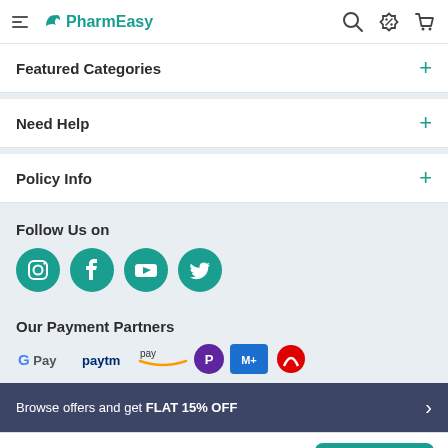PharmEasy
Featured Categories
Need Help
Policy Info
Follow Us on
[Figure (logo): Social media icons: Instagram, Facebook, YouTube, Twitter - teal circular buttons]
Our Payment Partners
[Figure (logo): Payment partner logos: G Pay, Paytm, Amazon Pay, PhonePe, Mobikwik, Airtel]
Browse offers and get FLAT 15% OFF
Aviflox Tz Strip Of 10 Tablets ₹61.2 15% OFF
Add To Cart